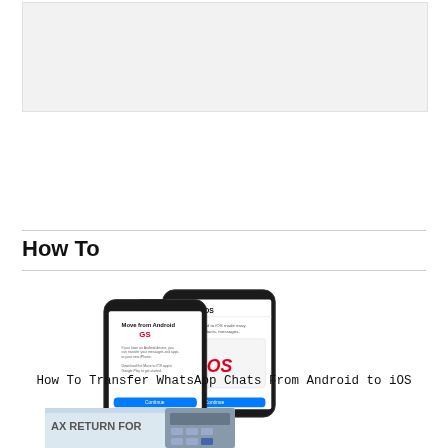[Figure (other): Advertisement banner placeholder with light gray background]
How To
[Figure (screenshot): Two smartphones showing Move from Android and Move to iOS screens for WhatsApp transfer]
How To Transfer WhatsApp Chats From Android to iOS
[Figure (photo): Partial photo showing tax return document and calculator]